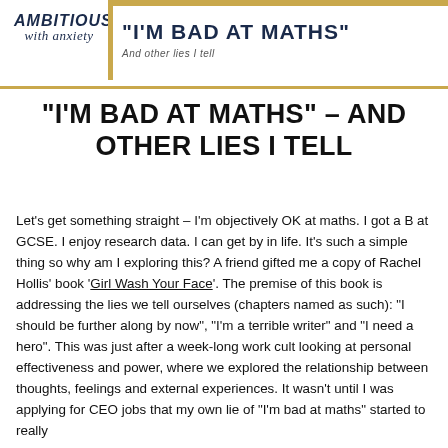AMBITIOUS with anxiety | "I'M BAD AT MATHS" And other lies I tell
“I’M BAD AT MATHS” – AND OTHER LIES I TELL
Let’s get something straight – I’m objectively OK at maths. I got a B at GCSE. I enjoy research data. I can get by in life. It’s such a simple thing so why am I exploring this? A friend gifted me a copy of Rachel Hollis’ book ‘Girl Wash Your Face’. The premise of this book is addressing the lies we tell ourselves (chapters named as such): “I should be further along by now”, “I’m a terrible writer” and “I need a hero”. This was just after a week-long work cult looking at personal effectiveness and power, where we explored the relationship between thoughts, feelings and external experiences. It wasn’t until I was applying for CEO jobs that my own lie of “I’m bad at maths” started to really